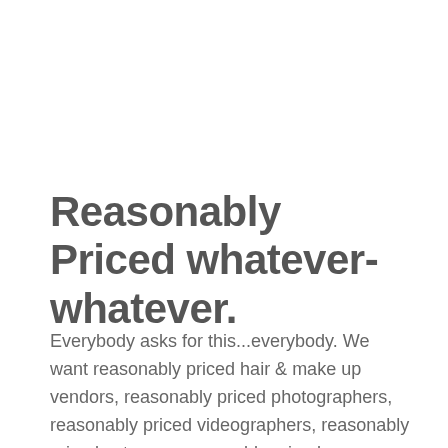Reasonably Priced whatever-whatever.
Everybody asks for this...everybody. We want reasonably priced hair & make up vendors, reasonably priced photographers, reasonably priced videographers, reasonably priced caterers, reasonably priced transportation and so much more.
I have a huge problem with this, as do most